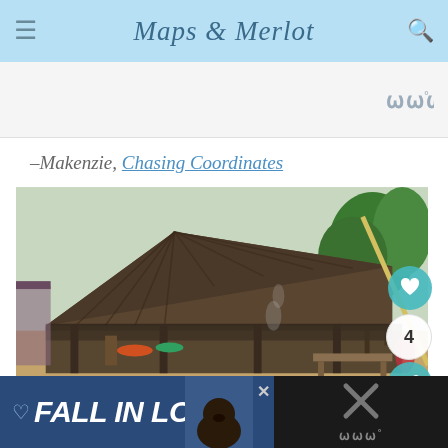Maps & Merlot
[Figure (other): Blank advertisement placeholder area with logo mark in top right]
–Makenzie, Chasing Coordinates
[Figure (photo): A thatched-roof wooden hut/shelter in a tropical setting with palm trees, dirt ground, and outdoor cooking area. Social sharing buttons (heart/like, count showing 4, share) visible on right side.]
[Figure (screenshot): Bottom advertisement banner reading 'FALL IN LOVE' on dark blue background with dog image and close button, plus dark right panel with X marks and logo]